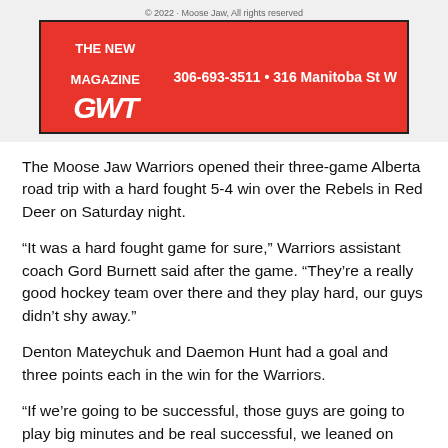[Figure (other): GWT advertisement banner in red with logo, phone number 306-693-3511 and address 316 Manitoba St W]
The Moose Jaw Warriors opened their three-game Alberta road trip with a hard fought 5-4 win over the Rebels in Red Deer on Saturday night.
“It was a hard fought game for sure,” Warriors assistant coach Gord Burnett said after the game. “They’re a really good hockey team over there and they play hard, our guys didn’t shy away.”
Denton Mateychuk and Daemon Hunt had a goal and three points each in the win for the Warriors.
“If we’re going to be successful, those guys are going to play big minutes and be real successful, we leaned on them, played hard and both goals were around the net,” Burnett said.